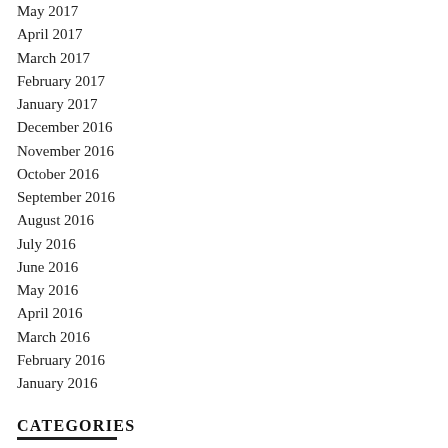May 2017
April 2017
March 2017
February 2017
January 2017
December 2016
November 2016
October 2016
September 2016
August 2016
July 2016
June 2016
May 2016
April 2016
March 2016
February 2016
January 2016
CATEGORIES